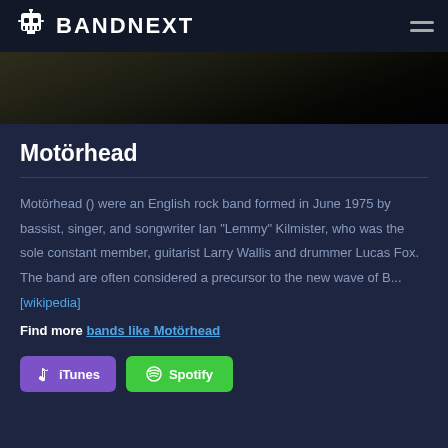BANDNEXT
[Figure (photo): Dark banner image, appears to be a blurred stage or landscape photo with dark green/brown tones fading to black]
Motörhead
Motörhead () were an English rock band formed in June 1975 by bassist, singer, and songwriter Ian "Lemmy" Kilmister, who was the sole constant member, guitarist Larry Wallis and drummer Lucas Fox. The band are often considered a precursor to the new wave of B... [wikipedia]
Find more bands like Motörhead
[Figure (other): iTunes and Spotify buttons]